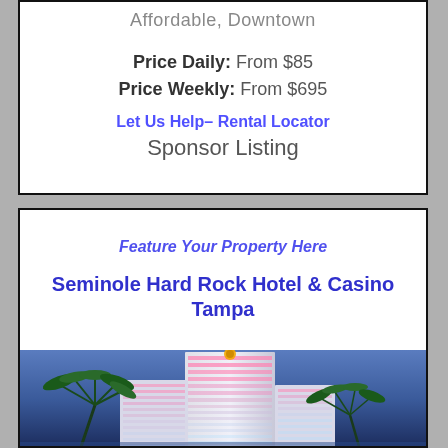Affordable, Downtown
Price Daily: From $85
Price Weekly: From $695
Let Us Help- Rental Locator
Sponsor Listing
Feature Your Property Here
Seminole Hard Rock Hotel & Casino Tampa
[Figure (photo): Photo of Seminole Hard Rock Hotel & Casino Tampa at dusk/night showing a tall multi-story hotel tower with pink and white lighting, palm trees in foreground, blue night sky background]